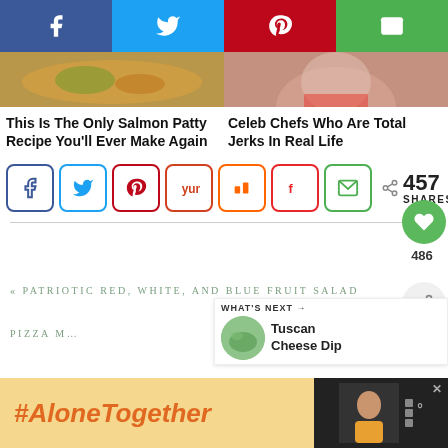[Figure (screenshot): Social share bar with Facebook, Twitter, Pinterest, and Email icons on colored backgrounds (blue, light blue, red, green)]
[Figure (photo): Two article thumbnail images side by side: food dish on left, person on right]
This Is The Only Salmon Patty Recipe You'll Ever Make Again
Celeb Chefs Who Are Total Jerks In Real Life
[Figure (infographic): Social share buttons row: Facebook, Twitter, Pinterest, Yummly, Mix, Flipboard, Email icons with 457 SHARES count]
457 SHARES
486
« PATRIOTIC RED, WHITE, AND BLUE FRUIT SALAD
PIZZA M...
[Figure (infographic): What's Next panel: Tuscan Cheese Dip with food image]
WHAT'S NEXT → Tuscan Cheese Dip
[Figure (infographic): Bottom advertisement banner with #AloneTogether text and person image]